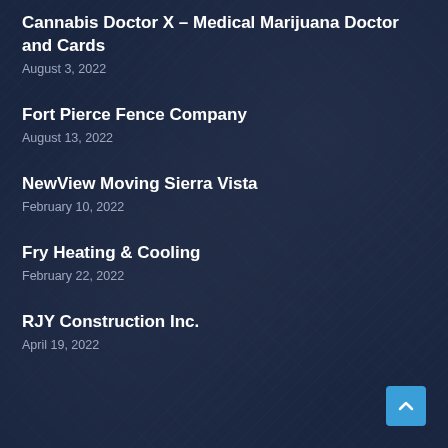Cannabis Doctor X – Medical Marijuana Doctor and Cards
August 3, 2022
Fort Pierce Fence Company
August 13, 2022
NewView Moving Sierra Vista
February 10, 2022
Fry Heating & Cooling
February 22, 2022
RJY Construction Inc.
April 19, 2022